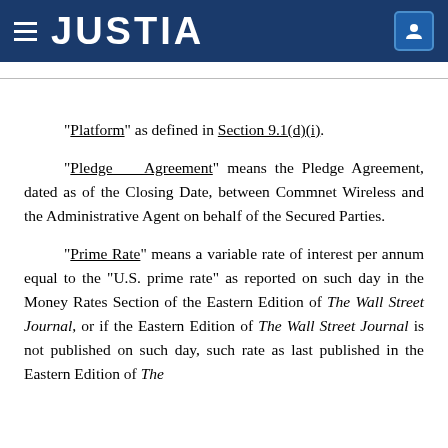JUSTIA
“Platform” as defined in Section 9.1(d)(i).
“Pledge Agreement” means the Pledge Agreement, dated as of the Closing Date, between Commnet Wireless and the Administrative Agent on behalf of the Secured Parties.
“Prime Rate” means a variable rate of interest per annum equal to the “U.S. prime rate” as reported on such day in the Money Rates Section of the Eastern Edition of The Wall Street Journal, or if the Eastern Edition of The Wall Street Journal is not published on such day, such rate as last published in the Eastern Edition of The